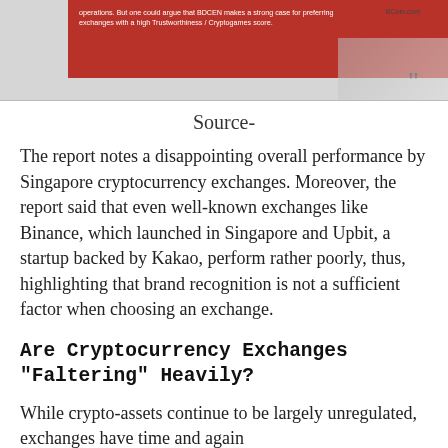[Figure (screenshot): Screenshot of a webpage showing a red-highlighted text box with text about BDCEN making a strong case for preferring exchanges with a high Trustworthiness/Cryptogames score, with a quote mark and gray background graphic visible.]
Source-
The report notes a disappointing overall performance by Singapore cryptocurrency exchanges. Moreover, the report said that even well-known exchanges like Binance, which launched in Singapore and Upbit, a startup backed by Kakao, perform rather poorly, thus, highlighting that brand recognition is not a sufficient factor when choosing an exchange.
Are Cryptocurrency Exchanges "Faltering" Heavily?
While crypto-assets continue to be largely unregulated, exchanges have time and again